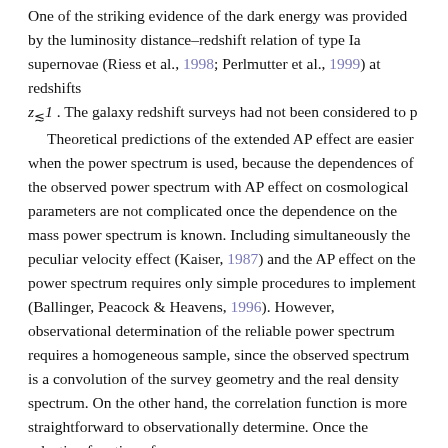One of the striking evidence of the dark energy was provided by the luminosity distance–redshift relation of type Ia supernovae (Riess et al., 1998; Perlmutter et al., 1999) at redshifts
z≲1 . The galaxy redshift surveys had not been considered to p
Theoretical predictions of the extended AP effect are easier when the power spectrum is used, because the dependences of the observed power spectrum with AP effect on cosmological parameters are not complicated once the dependence on the mass power spectrum is known. Including simultaneously the peculiar velocity effect (Kaiser, 1987) and the AP effect on the power spectrum requires only simple procedures to implement (Ballinger, Peacock & Heavens, 1996). However, observational determination of the reliable power spectrum requires a homogeneous sample, since the observed spectrum is a convolution of the survey geometry and the real density spectrum. On the other hand, the correlation function is more straightforward to observationally determine. Once the selection function of